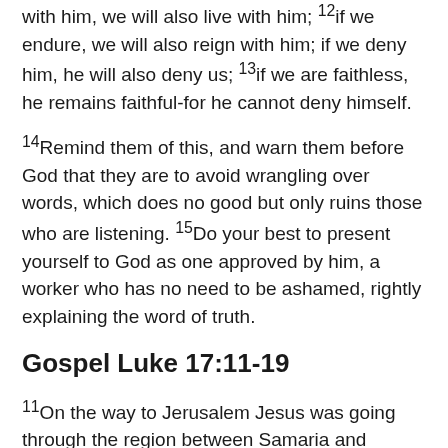with him, we will also live with him; 12if we endure, we will also reign with him; if we deny him, he will also deny us; 13if we are faithless, he remains faithful-for he cannot deny himself.
14Remind them of this, and warn them before God that they are to avoid wrangling over words, which does no good but only ruins those who are listening. 15Do your best to present yourself to God as one approved by him, a worker who has no need to be ashamed, rightly explaining the word of truth.
Gospel Luke 17:11-19
11On the way to Jerusalem Jesus was going through the region between Samaria and Galilee. 12As he entered a village, ten lepers approached him. Keeping their distance, 13they called out, saying, "Jesus, Master, have mercy on us!" 14When he saw them, he said to them, "Go and show yourselves to the priests." And as they went, they were made clean. 15Then one of them,